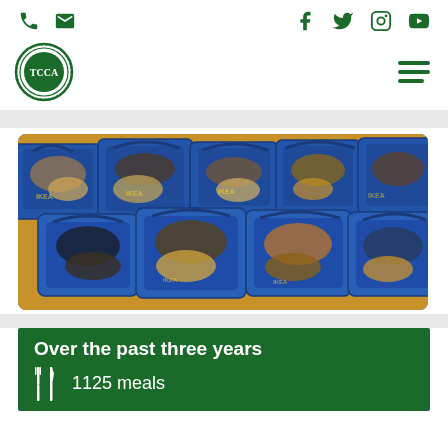Phone, Email icons | Facebook, Twitter, Instagram, YouTube icons | TCCA logo | Hamburger menu
[Figure (photo): Multiple blue IKEA-style shopping bags filled with clothing and items, viewed from above on an orange floor surface]
Over the past three years
1125 meals